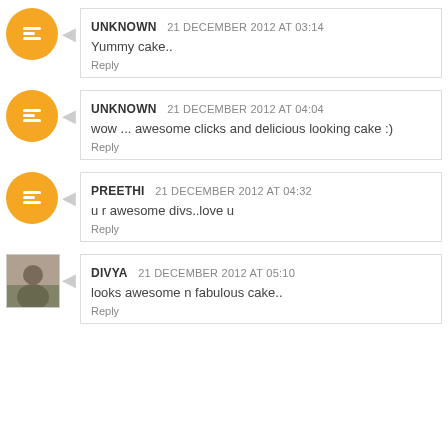UNKNOWN 21 DECEMBER 2012 AT 03:14
Yummy cake..
Reply
UNKNOWN 21 DECEMBER 2012 AT 04:04
wow ... awesome clicks and delicious looking cake :)
Reply
PREETHI 21 DECEMBER 2012 AT 04:32
u r awesome divs..love u
Reply
DIVYA 21 DECEMBER 2012 AT 05:10
looks awesome n fabulous cake..
Reply